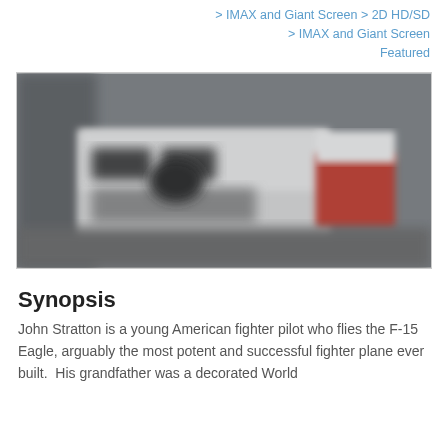> IMAX and Giant Screen > 2D HD/SD
> IMAX and Giant Screen
Featured
[Figure (photo): Blurred image of a movie or product display with white and red text/logo that appears to read 'PILOT', set against a grey background]
Synopsis
John Stratton is a young American fighter pilot who flies the F-15 Eagle, arguably the most potent and successful fighter plane ever built.  His grandfather was a decorated World